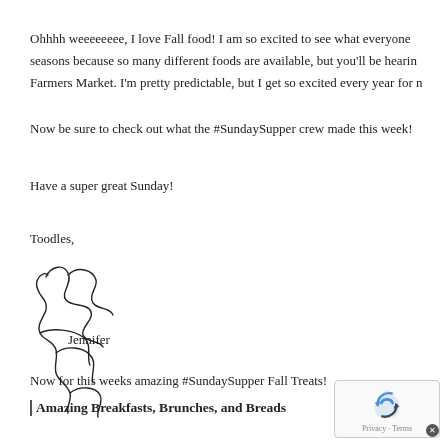Ohhhh weeeeeeee, I love Fall food! I am so excited to see what everyone seasons because so many different foods are available, but you'll be hearin Farmers Market. I'm pretty predictable, but I get so excited every year for n
Now be sure to check out what the #SundaySupper crew made this week!
Have a super great Sunday!
Toodles,
[Figure (illustration): Handwritten cursive signature of Jennifer]
Jennifer
Now for this weeks amazing #SundaySupper Fall Treats!
Amazing Breakfasts, Brunches, and Breads
[Figure (logo): Google reCAPTCHA badge with Privacy and Terms links and close button]